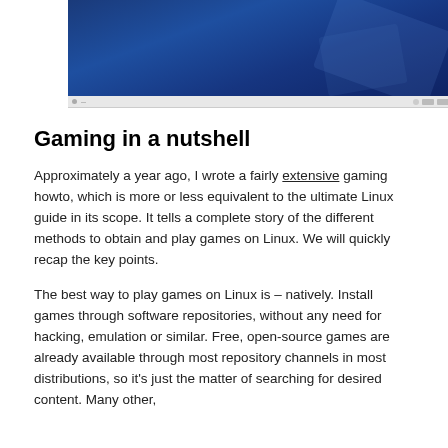[Figure (screenshot): Screenshot of a media player or video with a blue geometric background, with a player control bar at the bottom.]
Gaming in a nutshell
Approximately a year ago, I wrote a fairly extensive gaming howto, which is more or less equivalent to the ultimate Linux guide in its scope. It tells a complete story of the different methods to obtain and play games on Linux. We will quickly recap the key points.
The best way to play games on Linux is – natively. Install games through software repositories, without any need for hacking, emulation or similar. Free, open-source games are already available through most repository channels in most distributions, so it's just the matter of searching for desired content. Many other,